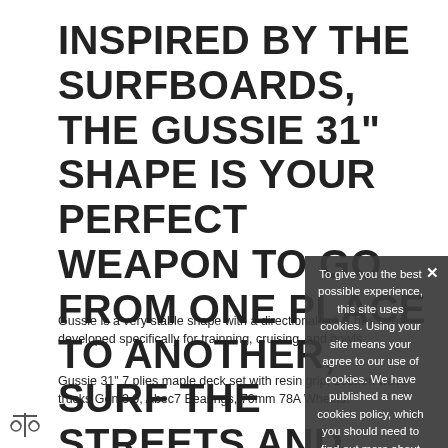INSPIRED BY THE SURFBOARDS, THE GUSSIE 31" SHAPE IS YOUR PERFECT WEAPON TO GO FROM ONE PLACE TO ANOTHER, SURF THE STREETS AND POLISH YOUR STYLE TO GET READY FOR EPIC CONDITIONS WITH LONG RIDES AND POWERFUL WAVES.
Gussie is a very stable shape with a directional tail, it has been developed specifically for trainning, cruising, and bowls.
Gussie 31" 7 plies maple deck set with resin grip, 165mm wave trucks Gen 3.0, Abec7 Bearings, 70mm 78A wheels.